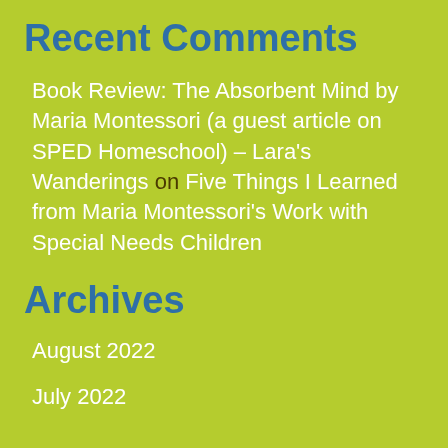Recent Comments
Book Review: The Absorbent Mind by Maria Montessori (a guest article on SPED Homeschool) – Lara's Wanderings on Five Things I Learned from Maria Montessori's Work with Special Needs Children
Archives
August 2022
July 2022